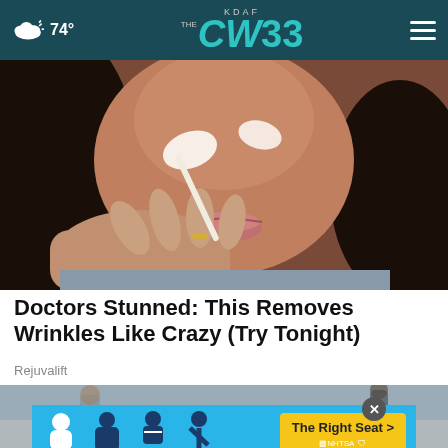KDAF CW33 — 74°
[Figure (photo): Close-up of a woman applying a white cream or mask to her face with her fingers, dark hair, wearing a ring]
Doctors Stunned: This Removes Wrinkles Like Crazy (Try Tonight)
Rejuvalift
[Figure (photo): Street scene with people and baby stroller, partially obscured by advertisement overlay]
[Figure (infographic): NHTSA car seat advertisement banner with blue background, car seat icons, and 'The Right Seat >' yellow button]